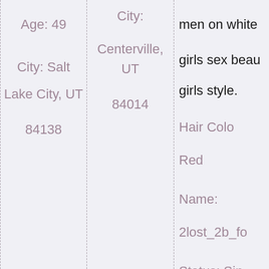Age: 49
City: Salt Lake City, UT 84138
City: Centerville, UT 84014
men on white
girls sex beau
girls style.
Hair Colo
Red
Name:
2lost_2b_fo
Status: Sin